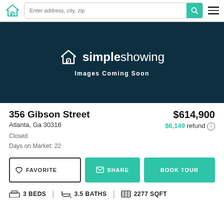[Figure (screenshot): SimpleShowing website navigation bar with logo, search input, and hamburger menu]
[Figure (illustration): Dark teal hero banner with SimpleShowing logo (house icon + text) and 'Images Coming Soon' text]
356 Gibson Street
Atlanta, Ga 30316
$614,900
$6,149 refund
Closed
Days on Market: 22
FAVORITE | SHARE | BOOK TOUR
3 BEDS | 3.5 BATHS | 2277 SQFT